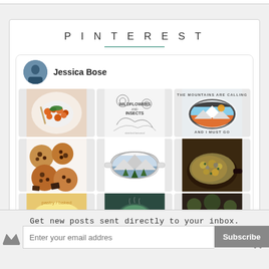PINTEREST
[Figure (screenshot): Pinterest profile widget for Jessica Bose showing a 3-column grid of pinned images including food photos, illustrations, and graphic designs. Profile shows avatar and bold name 'Jessica Bose'.]
Get new posts sent directly to your inbox.
Enter your email addres
Subscribe